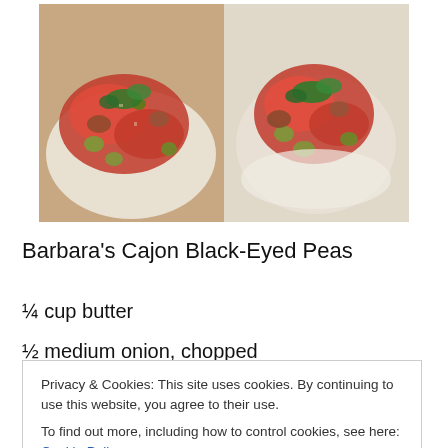[Figure (photo): Two side-by-side photos of a dish: Barbara's Cajun Black-Eyed Peas with tomatoes, olives, and fresh green herbs on a white plate.]
Barbara's Cajon Black-Eyed Peas
¼ cup butter
½ medium onion, chopped
Privacy & Cookies: This site uses cookies. By continuing to use this website, you agree to their use.
To find out more, including how to control cookies, see here: Cookie Policy